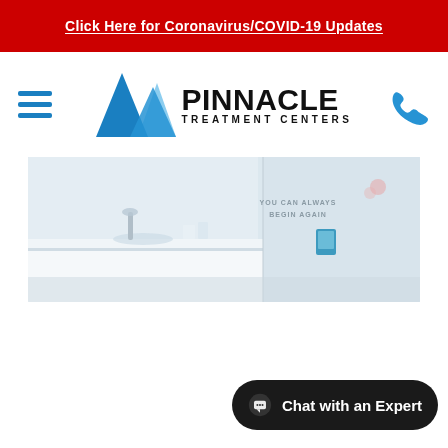Click Here for Coronavirus/COVID-19 Updates
[Figure (logo): Pinnacle Treatment Centers logo with mountain graphic and text]
[Figure (photo): Interior of a Pinnacle Treatment Centers clinic, showing a white reception counter, wall decor with motivational text reading YOU CAN ALWAYS BEGIN AGAIN, and a blue tablet/thermostat device on the wall.]
Chat with an Expert